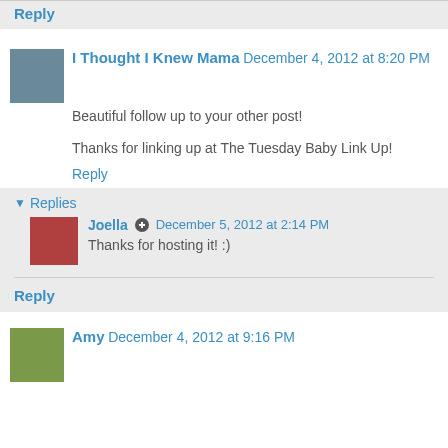Reply
I Thought I Knew Mama  December 4, 2012 at 8:20 PM
Beautiful follow up to your other post!
Thanks for linking up at The Tuesday Baby Link Up!
Reply
Replies
Joella  December 5, 2012 at 2:14 PM
Thanks for hosting it! :)
Reply
Amy  December 4, 2012 at 9:16 PM